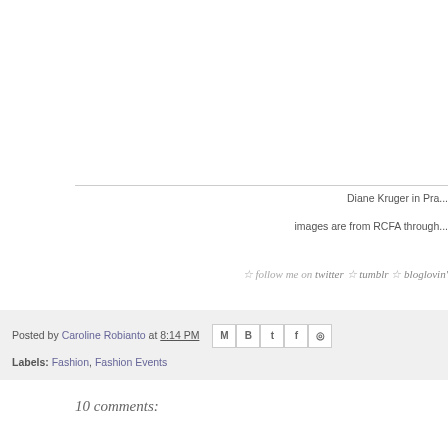[Figure (photo): Cropped/partial photo area - white space with border (image of Diane Kruger in Prada, partially visible)]
Diane Kruger in Pra...
images are from RCFA through...
☆ follow me on twitter ☆ tumblr ☆ bloglovin'
Posted by Caroline Robianto at 8:14 PM
Labels: Fashion, Fashion Events
10 comments: